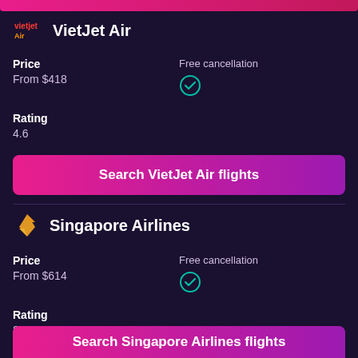VietJet Air
Price
From $418
Free cancellation
Rating
4.6
Search VietJet Air flights
Singapore Airlines
Price
From $614
Free cancellation
Rating
8.0
Search Singapore Airlines flights